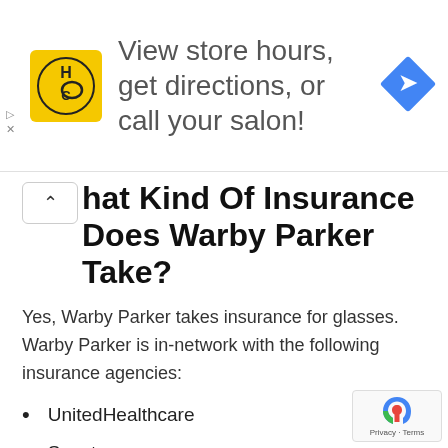[Figure (logo): HC (Hair Club) logo banner ad: yellow square logo with HC text, ad text 'View store hours, get directions, or call your salon!', blue diamond navigation icon]
What Kind Of Insurance Does Warby Parker Take?
Yes, Warby Parker takes insurance for glasses. Warby Parker is in-network with the following insurance agencies:
UnitedHealthcare
Spectera
VSP
EyeMed Vision Care
Cigna